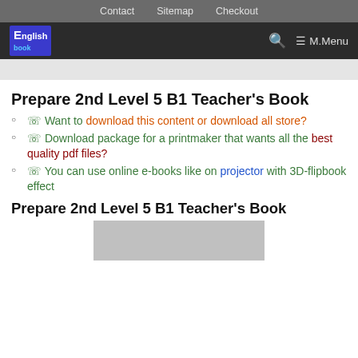Contact   Sitemap   Checkout
English Ebook logo | Search | M.Menu
Prepare 2nd Level 5 B1 Teacher's Book
☞ Want to download this content or download all store?
☞ Download package for a printmaker that wants all the best quality pdf files?
☞ You can use online e-books like on projector with 3D-flipbook effect
Prepare 2nd Level 5 B1 Teacher's Book
[Figure (photo): Gray placeholder image for book cover]